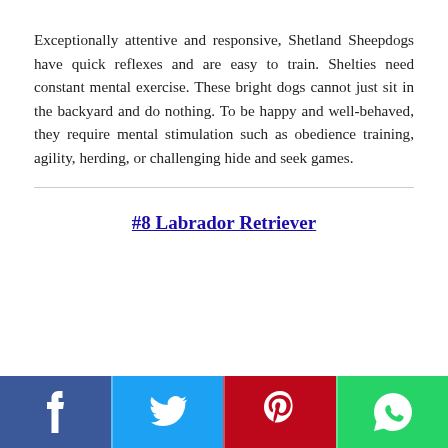Exceptionally attentive and responsive, Shetland Sheepdogs have quick reflexes and are easy to train. Shelties need constant mental exercise. These bright dogs cannot just sit in the backyard and do nothing. To be happy and well-behaved, they require mental stimulation such as obedience training, agility, herding, or challenging hide and seek games.
#8 Labrador Retriever
Social sharing bar: Facebook, Twitter, Pinterest, WhatsApp